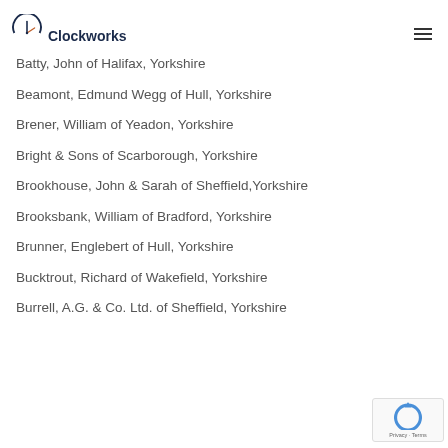Clockworks
Batty, John of Halifax, Yorkshire
Beamont, Edmund Wegg of Hull, Yorkshire
Brener, William of Yeadon, Yorkshire
Bright & Sons of Scarborough, Yorkshire
Brookhouse, John & Sarah of Sheffield, Yorkshire
Brooksbank, William of Bradford, Yorkshire
Brunner, Englebert of Hull, Yorkshire
Bucktrout, Richard of Wakefield, Yorkshire
Burrell, A.G. & Co. Ltd. of Sheffield, Yorkshire